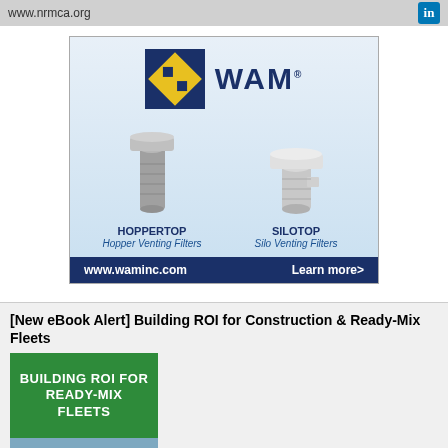www.nrmca.org
[Figure (illustration): WAM brand advertisement showing HOPPERTOP Hopper Venting Filters and SILOTOP Silo Venting Filters products with WAM logo and www.waminc.com and Learn more> footer]
[New eBook Alert] Building ROI for Construction & Ready-Mix Fleets
[Figure (infographic): Green book cover reading BUILDING ROI FOR READY-MIX FLEETS with a partial image of construction/ready-mix equipment below]